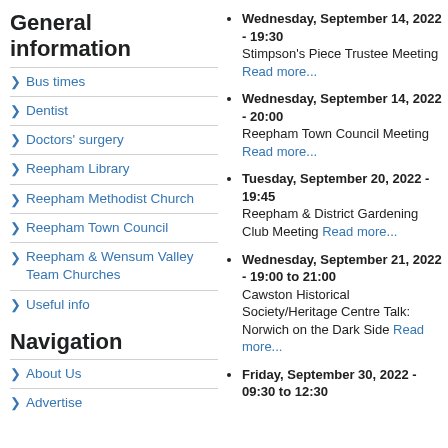General information
Bus times
Dentist
Doctors' surgery
Reepham Library
Reepham Methodist Church
Reepham Town Council
Reepham & Wensum Valley Team Churches
Useful info
Navigation
About Us
Advertise
Wednesday, September 14, 2022 - 19:30 Stimpson's Piece Trustee Meeting Read more...
Wednesday, September 14, 2022 - 20:00 Reepham Town Council Meeting Read more...
Tuesday, September 20, 2022 - 19:45 Reepham & District Gardening Club Meeting Read more...
Wednesday, September 21, 2022 - 19:00 to 21:00 Cawston Historical Society/Heritage Centre Talk: Norwich on the Dark Side Read more...
Friday, September 30, 2022 - 09:30 to 12:30